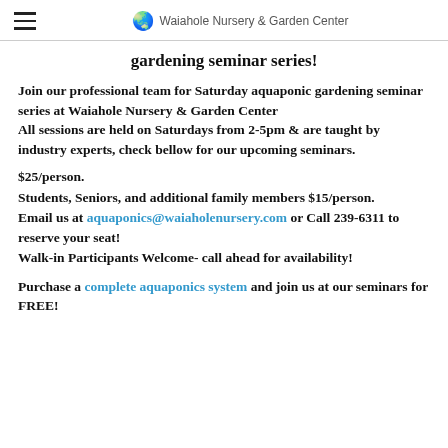Waiahole Nursery & Garden Center
gardening seminar series!
Join our professional team for Saturday aquaponic gardening seminar series at Waiahole Nursery & Garden Center
All sessions are held on Saturdays from 2-5pm & are taught by industry experts, check bellow for our upcoming seminars.
$25/person.
Students, Seniors, and additional family members $15/person.
Email us at aquaponics@waiaholenursery.com or Call 239-6311 to reserve your seat!
Walk-in Participants Welcome- call ahead for availability!
Purchase a complete aquaponics system and join us at our seminars for FREE!